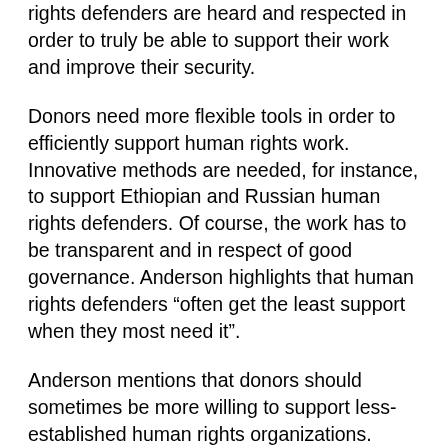rights defenders are heard and respected in order to truly be able to support their work and improve their security.
Donors need more flexible tools in order to efficiently support human rights work.  Innovative methods are needed, for instance, to support Ethiopian and Russian human rights defenders. Of course, the work has to be transparent and in respect of good governance. Anderson highlights that human rights defenders “often get the least support when they most need it”.
Anderson mentions that donors should sometimes be more willing to support less-established human rights organizations. “East and Horn of Human Rights Defenders Project (EHAHRDP) for instance does wonderful work. They got enough seed money in the